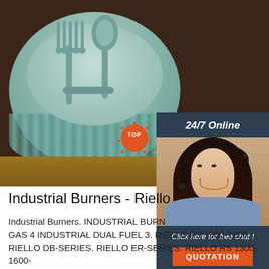[Figure (photo): A teal/sage colored bowl with fork and spoon utensils inside, placed on a wooden surface. Dark brown background. On the right side overlaid is a '24/7 Online' chat widget with a photo of a smiling woman with a headset, 'Click here for free chat!' text, and an orange QUOTATION button.]
Industrial Burners - Riello
Industrial Burners. INDUSTRIAL BURNERS All INDUSTRIAL GAS 4 INDUSTRIAL DUAL FUEL 3. RIELLO RS 1000-1200. RIELLO DB-SERIES. RIELLO ER-SERIES. RIELLO RS 1300-1600-